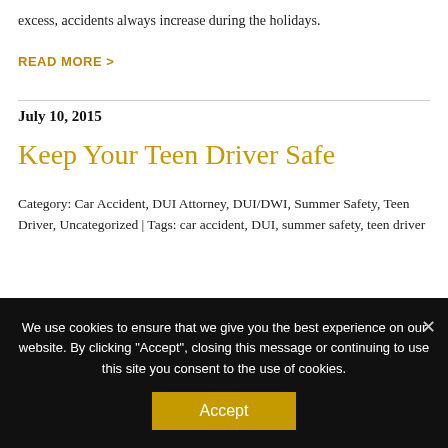excess, accidents always increase during the holidays.
READ MORE >
July 10, 2015
Keep Your Teen Driver Safe
Category: Car Accident, DUI Attorney, DUI/DWI, Summer Safety, Teen Driver, Uncategorized | Tags: car accident, DUI, summer safety, teen driver
Posted by Daniel Miller | Summer is the time when many teens begin to learn to drive for the first time. Getting a driver's license
We use cookies to ensure that we give you the best experience on our website. By clicking "Accept", closing this message or continuing to use this site you consent to the use of cookies.
Accept